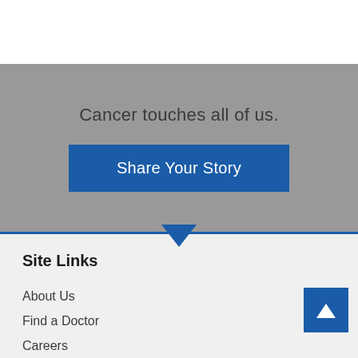[Figure (screenshot): Gray hero banner section with text 'Cancer touches all of us.' and a blue 'Share Your Story' button]
Cancer touches all of us.
Share Your Story
Site Links
About Us
Find a Doctor
Careers